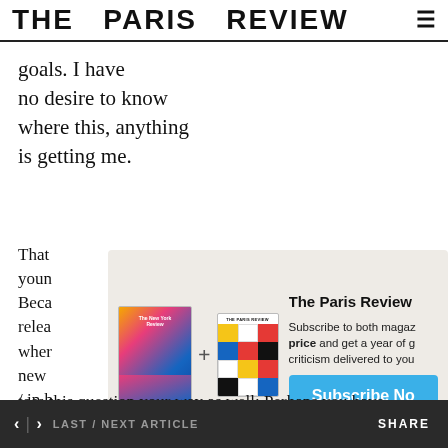THE PARIS REVIEW
goals. I have
no desire to know
where this, anything
is getting me.
That
youn
Beca
relea
wher
new
/ in b
white
know
[Figure (infographic): Subscription advertisement showing The New York Review and The Paris Review magazine covers with a plus sign between them, next to text reading 'The Paris Review' with 'Subscribe to both magazines at a special price and get a year of great fiction, poetry, and criticism delivered to your door.' and a blue 'Subscribe Now' button.]
toss this question your way as well: Perhaps you have
< > LAST / NEXT ARTICLE   SHARE